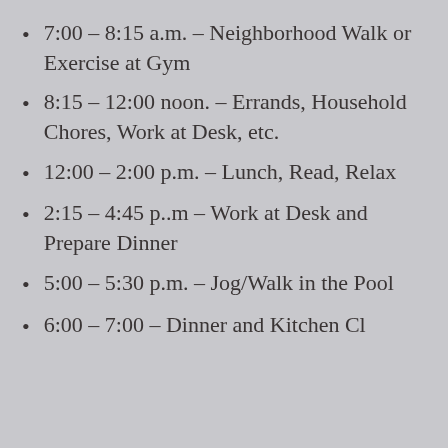7:00 – 8:15 a.m. – Neighborhood Walk or Exercise at Gym
8:15 – 12:00 noon. – Errands, Household Chores, Work at Desk, etc.
12:00 – 2:00 p.m. – Lunch, Read, Relax
2:15 – 4:45 p..m – Work at Desk and Prepare Dinner
5:00 – 5:30 p.m. – Jog/Walk in the Pool
6:00 – 7:00 – Dinner and Kitchen Cl…